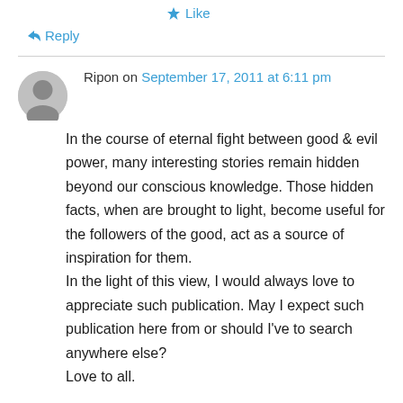★ Like
↪ Reply
Ripon on September 17, 2011 at 6:11 pm
In the course of eternal fight between good & evil power, many interesting stories remain hidden beyond our conscious knowledge. Those hidden facts, when are brought to light, become useful for the followers of the good, act as a source of inspiration for them.
In the light of this view, I would always love to appreciate such publication. May I expect such publication here from or should I've to search anywhere else?
Love to all.